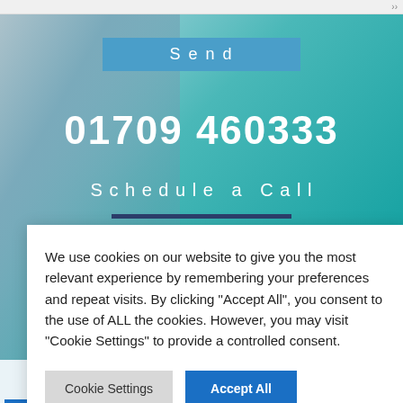[Figure (screenshot): Website screenshot showing a hero section with a teal/blue gradient background and a hand/arm photo overlay on the left. Contains a 'Send' button, a large phone number '01709 460333', and a 'Schedule a Call' link. A cookie consent modal dialog is overlaid on top.]
Send
01709 460333
Schedule a Call
We use cookies on our website to give you the most relevant experience by remembering your preferences and repeat visits. By clicking "Accept All", you consent to the use of ALL the cookies. However, you may visit "Cookie Settings" to provide a controlled consent.
Cookie Settings
Accept All
AUTHORIZED PARTNER